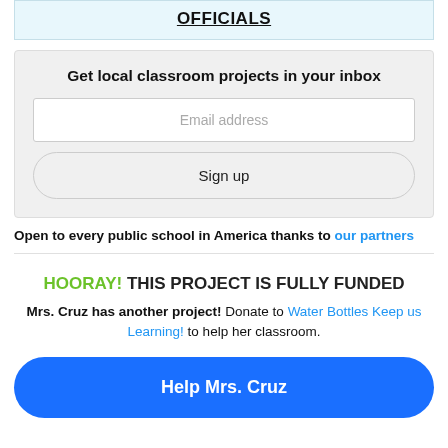OFFICIALS
Get local classroom projects in your inbox
Email address
Sign up
Open to every public school in America thanks to our partners
HOORAY! THIS PROJECT IS FULLY FUNDED
Mrs. Cruz has another project! Donate to Water Bottles Keep us Learning! to help her classroom.
Help Mrs. Cruz